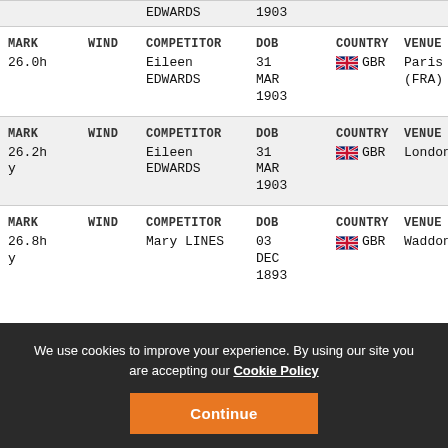| MARK | WIND | COMPETITOR | DOB | COUNTRY | VENUE |
| --- | --- | --- | --- | --- | --- |
| 26.0h |  | Eileen EDWARDS | 31 MAR 1903 | GBR | Paris (FRA) |
| 26.2hy |  | Eileen EDWARDS | 31 MAR 1903 | GBR | London (GBR) |
| 26.8hy |  | Mary LINES | 03 DEC 1893 | GBR | Waddon (GBR) |
We use cookies to improve your experience. By using our site you are accepting our Cookie Policy
Continue